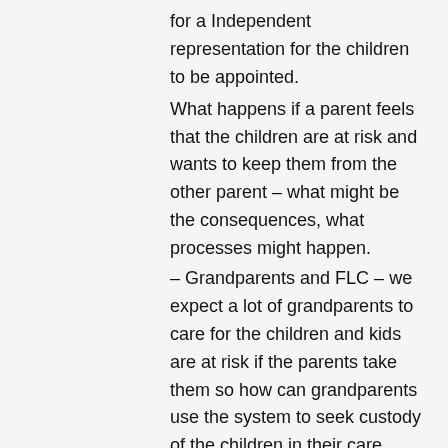for a Independent representation for the children to be appointed.
What happens if a parent feels that the children are at risk and wants to keep them from the other parent – what might be the consequences, what processes might happen.
– Grandparents and FLC – we expect a lot of grandparents to care for the children and kids are at risk if the parents take them so how can grandparents use the system to seek custody of the children in their care.
– How and what sort of evidence should a person be keeping ready for Family Law Court.
– If people lose their court orders how can they get a copy?
– Does domestic and family violence change